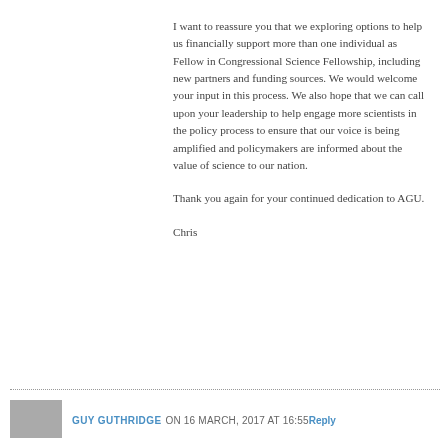I want to reassure you that we exploring options to help us financially support more than one individual as Fellow in Congressional Science Fellowship, including new partners and funding sources. We would welcome your input in this process. We also hope that we can call upon your leadership to help engage more scientists in the policy process to ensure that our voice is being amplified and policymakers are informed about the value of science to our nation.
Thank you again for your continued dedication to AGU.
Chris
GUY GUTHRIDGE ON 16 MARCH, 2017 AT 16:55 Reply